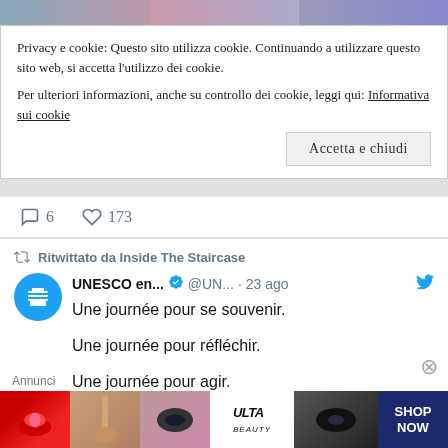[Figure (screenshot): Top strip with partial photo images]
Privacy e cookie: Questo sito utilizza cookie. Continuando a utilizzare questo sito web, si accetta l’utilizzo dei cookie.
Per ulteriori informazioni, anche su controllo dei cookie, leggi qui: Informativa sui cookie
Accetta e chiudi
ↄ 6  ♥ 173
Ritwittato da Inside The Staircase
UNESCO en... ✓ @UN... · 23 ago
Une journée pour se souvenir.

Une journée pour réfléchir.

Une journée pour agir.

Aujourd’hui, nous célébrons la Journée
[Figure (screenshot): ULTA beauty advertisement banner with makeup imagery and SHOP NOW text]